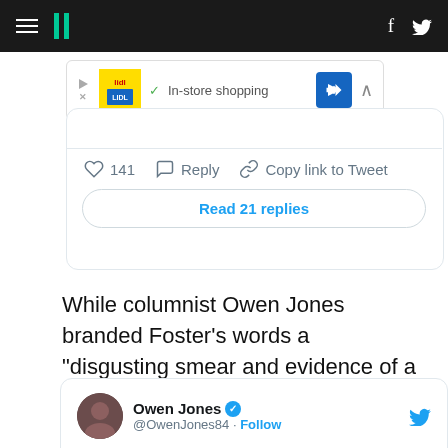HuffPost navigation header with hamburger menu, logo, Facebook and Twitter icons
[Figure (screenshot): Advertisement banner showing Lidl ad with 'In-store shopping' text and navigation arrow button]
[Figure (screenshot): Tweet action bar showing heart icon with 141 likes, Reply button, Copy link to Tweet button, and Read 21 replies button]
While columnist Owen Jones branded Foster's words a "disgusting smear and evidence of a twisted view of reality".
[Figure (screenshot): Embedded tweet from Owen Jones (@OwenJones84) with Follow button and Twitter bird icon, beginning with 'Comparing democratic socialist Labour']